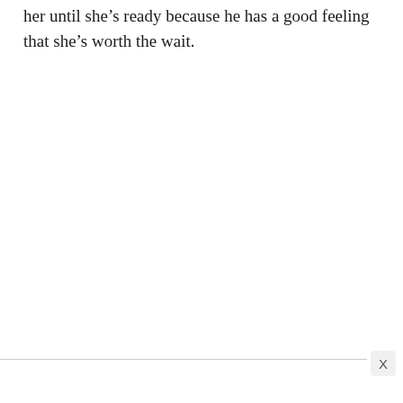her until she’s ready because he has a good feeling that she’s worth the wait.